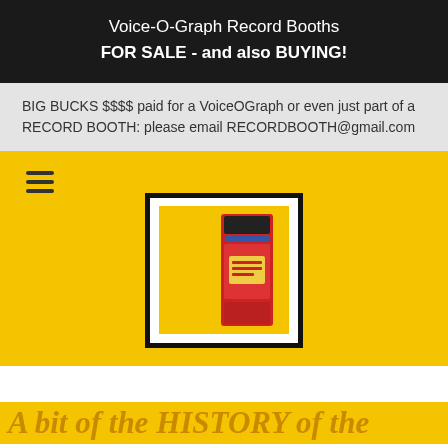Voice-O-Graph Record Booths
FOR SALE - and also BUYING!
BIG BUCKS $$$$ paid for a VoiceOGraph or even just part of a RECORD BOOTH: please email RECORDBOOTH@gmail.com
[Figure (photo): A vintage Voice-O-Graph record booth machine, red colored, displayed against a yellow background inside a white-framed box]
A bit of the HISTORY of the